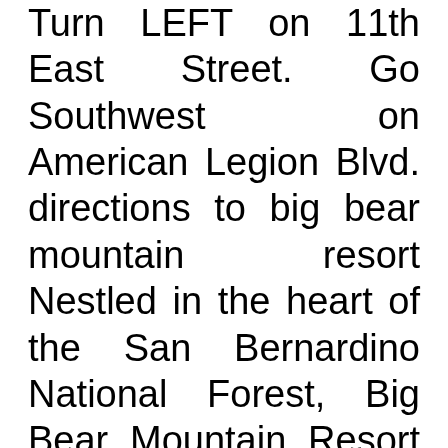Turn LEFT on 11th East Street. Go Southwest on American Legion Blvd. directions to big bear mountain resort Nestled in the heart of the San Bernardino National Forest, Big Bear Mountain Resort is a short, scenic drive from most Southern California locations. Mountain Home is the largest city and county seat of Elmore County, Idaho, United States. Amtrak offers service to Saratoga Springs, just under 1 hour from Gore Mountain. Home; New Inventory Search. Error: